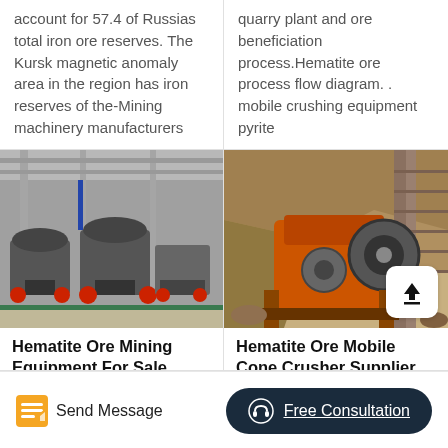account for 57.4 of Russias total iron ore reserves. The Kursk magnetic anomaly area in the region has iron reserves of the-Mining machinery manufacturers
quarry plant and ore beneficiation process.Hematite ore process flow diagram. . mobile crushing equipment pyrite
[Figure (photo): Industrial mining equipment including cone crushers in a large warehouse/factory setting]
Hematite Ore Mining Equipment For Sale
[Figure (photo): Hematite ore mobile cone crusher machinery in an outdoor quarry setting, with an upload button overlay]
Hematite Ore Mobile Cone Crusher Supplier
Send Message
Free Consultation